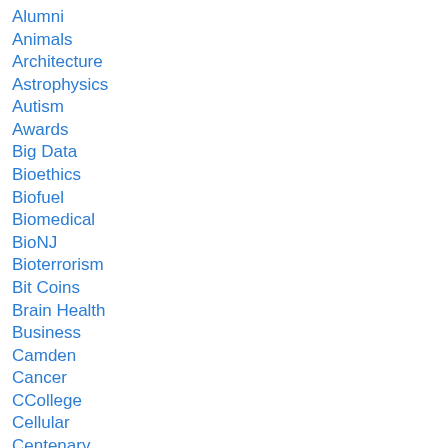Alumni
Animals
Architecture
Astrophysics
Autism
Awards
Big Data
Bioethics
Biofuel
Biomedical
BioNJ
Bioterrorism
Bit Coins
Brain Health
Business
Camden
Cancer
CCollege
Cellular
Centenary
Chemistry